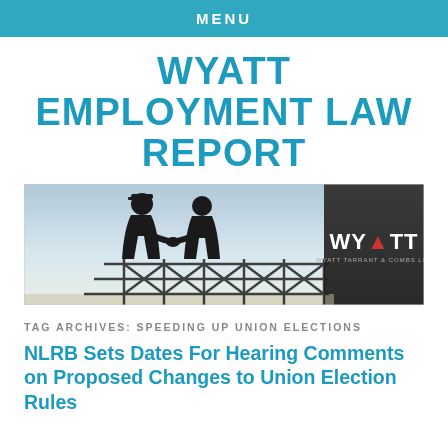MENU
WYATT EMPLOYMENT LAW REPORT
[Figure (photo): Banner image showing two silhouetted figures shaking hands against a sky background, with a construction structure and a dark panel bearing the WYATT Tarrant & Combs LLP logo on the right.]
TAG ARCHIVES: SPEEDING UP UNION ELECTIONS
NLRB Sets Dates For Hearing Comments on Proposed Changes to Union Election Rules